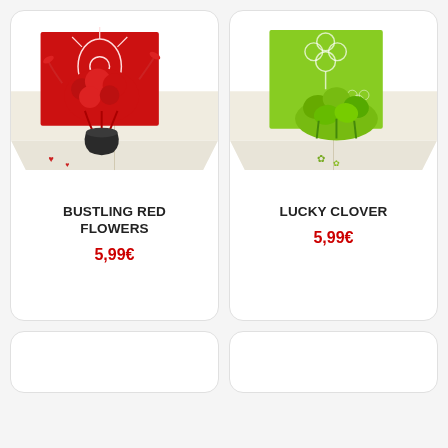[Figure (photo): Pop-up greeting card with red flowers in a vase against a red card background]
BUSTLING RED FLOWERS
5,99€
[Figure (photo): Pop-up greeting card with green lucky clover plant against a bright green card background]
LUCKY CLOVER
5,99€